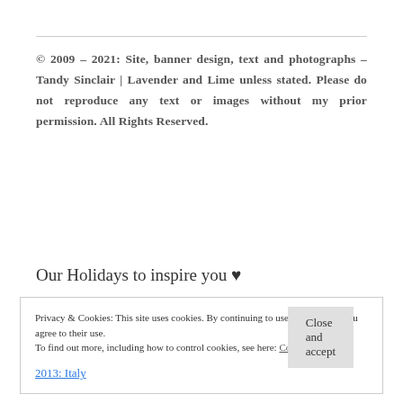© 2009 – 2021: Site, banner design, text and photographs – Tandy Sinclair | Lavender and Lime unless stated. Please do not reproduce any text or images without my prior permission. All Rights Reserved.
Our Holidays to inspire you ♥
Privacy & Cookies: This site uses cookies. By continuing to use this website, you agree to their use.
To find out more, including how to control cookies, see here: Cookie Policy
Close and accept
2013: Italy